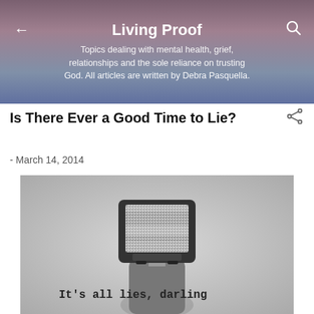Living Proof
Topics dealing with mental health, grief, relationships and the sole reliance on trusting God. All articles are written by Debra Pasquella.
Is There Ever a Good Time to Lie?
- March 14, 2014
[Figure (photo): Black and white photo of a person with a vintage CRT television as their head, showing static on screen. Text overlay reads: It's all lies, darling]